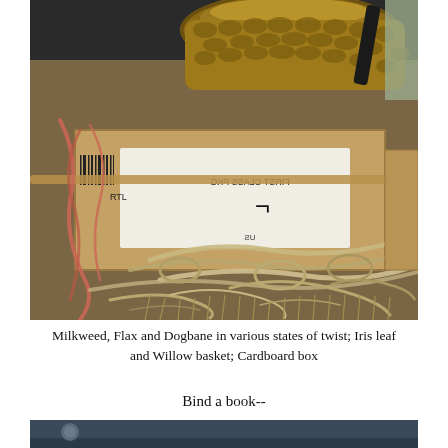[Figure (photo): Photograph showing Milkweed, Flax and Dogbane fibers in various states of twist, an Iris leaf and Willow basket, and a Cardboard box with a USPS First Class Package label. Loose fibrous material in tan/beige and reddish-pink colors scattered around the box.]
Milkweed, Flax and Dogbane in various states of twist; Iris leaf and Willow basket; Cardboard box
Bind a book--
[Figure (photo): Partial photograph visible at bottom of page, showing a dark blue/teal background, cropped.]